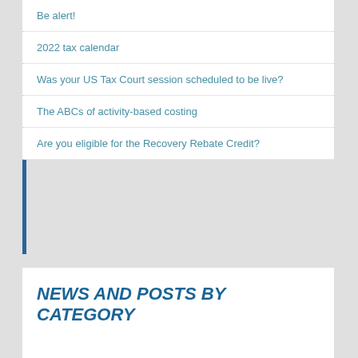Be alert!
2022 tax calendar
Was your US Tax Court session scheduled to be live?
The ABCs of activity-based costing
Are you eligible for the Recovery Rebate Credit?
NEWS AND POSTS BY CATEGORY